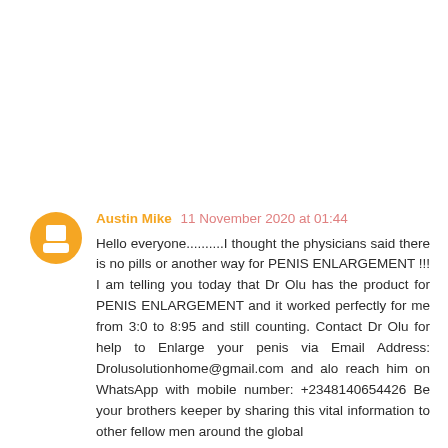Austin Mike 11 November 2020 at 01:44
Hello everyone..........I thought the physicians said there is no pills or another way for PENIS ENLARGEMENT !!! I am telling you today that Dr Olu has the product for PENIS ENLARGEMENT and it worked perfectly for me from 3:0 to 8:95 and still counting. Contact Dr Olu for help to Enlarge your penis via Email Address: Drolusolutionhome@gmail.com and alo reach him on WhatsApp with mobile number: +2348140654426 Be your brothers keeper by sharing this vital information to other fellow men around the global